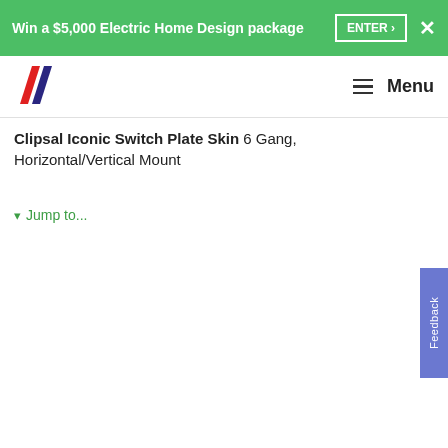Win a $5,000 Electric Home Design package  ENTER >  ✕
[Figure (logo): Clipsal brand logo — two diagonal stripes in red and dark blue]
Menu
Clipsal Iconic Switch Plate Skin 6 Gang, Horizontal/Vertical Mount
▾ Jump to...
| Property | Value |
| --- | --- |
| Quantity per set | set of 20 |
| Range compatibility | switch |
| Device mounting | flush |
| Number of rocker | 6 |
| Installation direction | horizontal/vertical |
| Fixing mode | slip on |